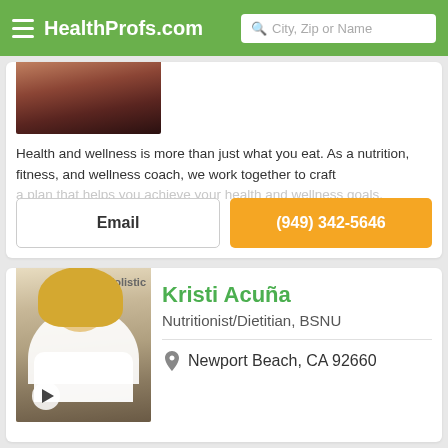HealthProfs.com
Health and wellness is more than just what you eat. As a nutrition, fitness, and wellness coach, we work together to craft a plan that helps you achieve your health and wellness goals.
Email
(949) 342-5646
[Figure (photo): Profile photo of Kristi Acuña, a woman with blonde hair wearing a white blazer, in front of a background with 'Holistic' text. A video play button is visible.]
Kristi Acuña
Nutritionist/Dietitian, BSNU
Newport Beach, CA 92660